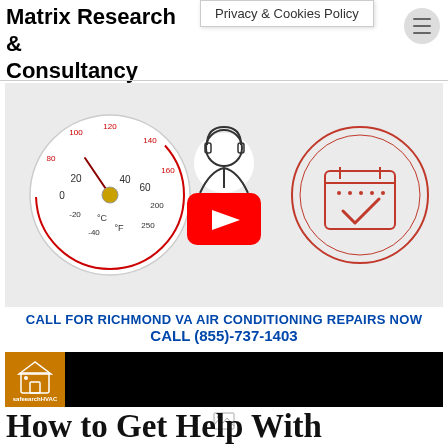Privacy & Cookies Policy
Matrix Research & Consultancy
[Figure (screenshot): Video thumbnail showing a thermometer gauge, a customer service agent icon, a YouTube play button, and a calendar with checkmark icon. Background is light gray.]
CALL FOR RICHMOND VA AIR CONDITIONING REPAIRS NOW CALL (855)-737-1403
[Figure (screenshot): HVAC orange icon logo and black video player bar]
[Figure (screenshot): Broken image placeholder icon]
How to Get Help With